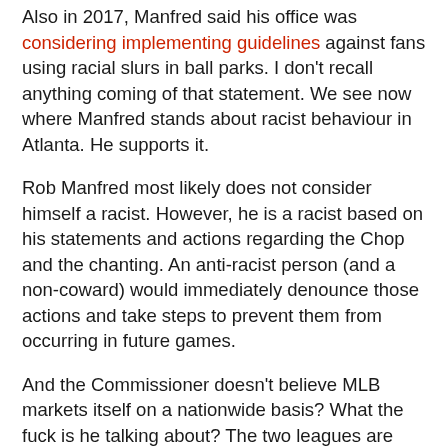Also in 2017, Manfred said his office was considering implementing guidelines against fans using racial slurs in ball parks. I don't recall anything coming of that statement. We see now where Manfred stands about racist behaviour in Atlanta. He supports it.
Rob Manfred most likely does not consider himself a racist. However, he is a racist based on his statements and actions regarding the Chop and the chanting. An anti-racist person (and a non-coward) would immediately denounce those actions and take steps to prevent them from occurring in future games.
And the Commissioner doesn't believe MLB markets itself on a nationwide basis? What the fuck is he talking about? The two leagues are called American and National, for god's sake. Its championship is called the World Series, although that has always been a misnomer and an great example of early-ish American exceptionalism.
Manfred claimed the Atlanta team has consulted with Native American leaders in Georgia, who feel the team's nickname is ...